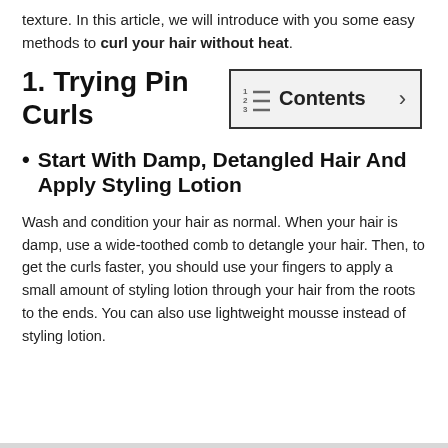texture. In this article, we will introduce with you some easy methods to curl your hair without heat.
1. Trying Pin Curls
[Figure (other): Contents navigation box with list icon and right arrow]
Start With Damp, Detangled Hair And Apply Styling Lotion
Wash and condition your hair as normal. When your hair is damp, use a wide-toothed comb to detangle your hair. Then, to get the curls faster, you should use your fingers to apply a small amount of styling lotion through your hair from the roots to the ends. You can also use lightweight mousse instead of styling lotion.